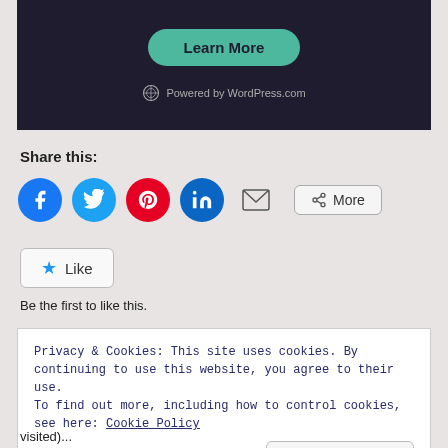[Figure (screenshot): WordPress.com advertisement banner with dark background, 'Learn More' green pill button, and 'Powered by WordPress.com' text with logo]
Share this:
[Figure (infographic): Row of social share icon buttons: Facebook (blue circle), Twitter (blue circle), Pinterest (red circle), LinkedIn (dark blue circle), Email (envelope icon), and a 'More' button with share icon]
[Figure (infographic): Like button with blue star icon and 'Like' text]
Be the first to like this.
Privacy & Cookies: This site uses cookies. By continuing to use this website, you agree to their use.
To find out more, including how to control cookies, see here: Cookie Policy
Close and accept
visited)...